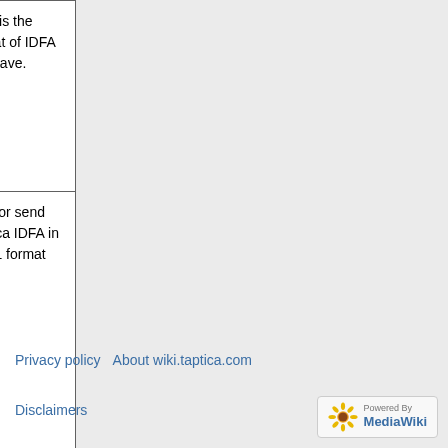|  |  | tt_idfa | what is the format of IDFA you have. |
| --- | --- | --- | --- |
| IDFA SHA1 | tt_idfa_sha1 | Use for send Taptica IDFA in SHA1 format |
| IDFA MD5 | tt_idfa_md5 | Use for send Taptica IDFA in MD5 format |
Privacy policy   About wiki.taptica.com
Disclaimers